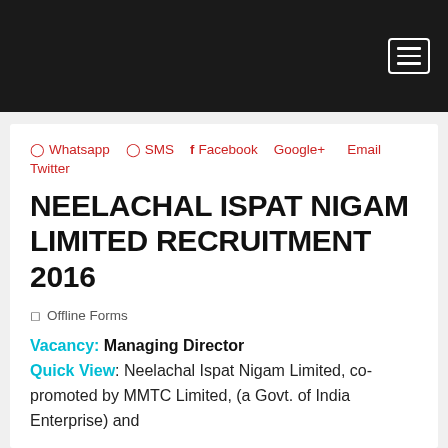[Figure (other): Black navigation header bar with hamburger menu icon (three horizontal lines) in a white bordered rectangle at top right]
Whatsapp  SMS  Facebook  Google+  Email  Twitter
NEELACHAL ISPAT NIGAM LIMITED RECRUITMENT 2016
Offline Forms
Vacancy: Managing Director
Quick View: Neelachal Ispat Nigam Limited, co-promoted by MMTC Limited, (a Govt. of India Enterprise) and